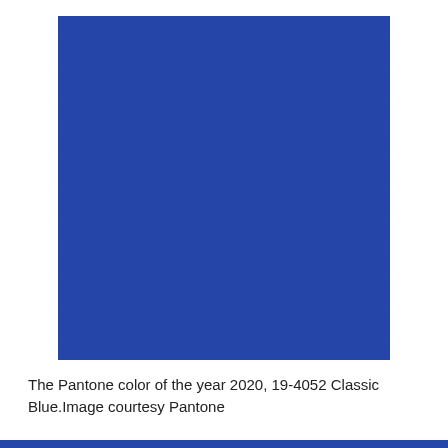[Figure (illustration): A fabric swatch in Pantone Classic Blue (19-4052) with zigzag/pinking shear edges on the left and right sides. The swatch is a rich, deep classic blue color on a white background.]
The Pantone color of the year 2020, 19-4052 Classic Blue.Image courtesy Pantone